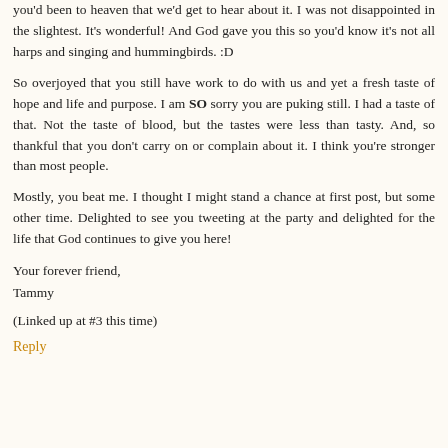you'd been to heaven that we'd get to hear about it. I was not disappointed in the slightest. It's wonderful! And God gave you this so you'd know it's not all harps and singing and hummingbirds. :D
So overjoyed that you still have work to do with us and yet a fresh taste of hope and life and purpose. I am SO sorry you are puking still. I had a taste of that. Not the taste of blood, but the tastes were less than tasty. And, so thankful that you don't carry on or complain about it. I think you're stronger than most people.
Mostly, you beat me. I thought I might stand a chance at first post, but some other time. Delighted to see you tweeting at the party and delighted for the life that God continues to give you here!
Your forever friend,
Tammy
(Linked up at #3 this time)
Reply